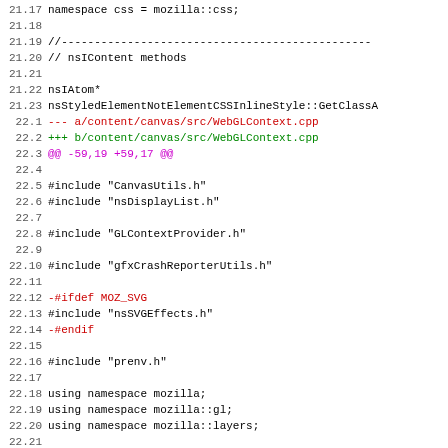[Figure (screenshot): Code diff view showing lines 21.17 through 22.26 of source code changes. Line numbers on left, code content on right. Red lines indicate removed code, green lines indicate added code, magenta lines show diff hunk headers.]